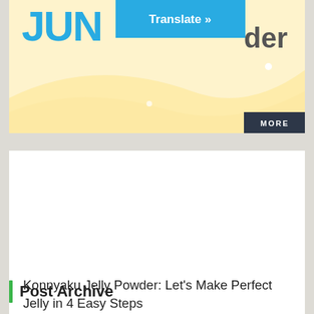[Figure (screenshot): Top banner with blue 'Translate »' button overlay, partial text 'JUN' in blue and 'der' in dark, yellow/cream background with wave shape, white dot, and dark 'MORE' button in bottom right corner]
[Figure (screenshot): White article card with blank image area]
Konnyaku Jelly Powder: Let's Make Perfect Jelly in 4 Easy Steps
Post Archive